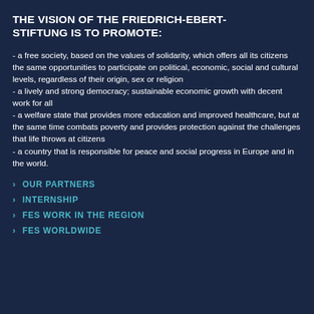THE VISION OF THE FRIEDRICH-EBERT-STIFTUNG IS TO PROMOTE:
- a free society, based on the values of solidarity, which offers all its citizens the same opportunities to participate on political, economic, social and cultural levels, regardless of their origin, sex or religion
- a lively and strong democracy; sustainable economic growth with decent work for all
- a welfare state that provides more education and improved healthcare, but at the same time combats poverty and provides protection against the challenges that life throws at citizens
- a country that is responsible for peace and social progress in Europe and in the world.
OUR PARTNERS
INTERNSHIP
FES WORK IN THE REGION
FES WORLDWIDE